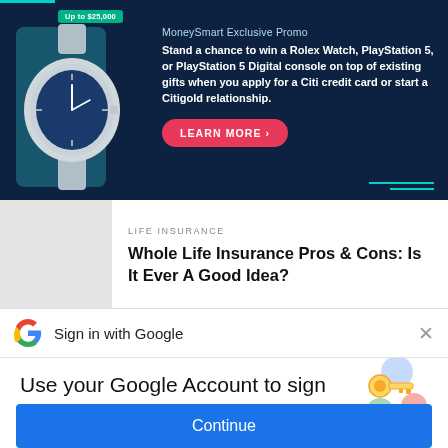[Figure (infographic): MoneySmart promotional banner ad on dark navy background with a Rolex watch image, text about winning prizes, and a LEARN MORE button]
MoneySmart Exclusive Promo
Stand a chance to win a Rolex Watch, PlayStation 5, or PlayStation 5 Digital console on top of existing gifts when you apply for a Citi credit card or start a Citigold relationship.
[Figure (photo): Grey placeholder thumbnail for article image]
LIFE INSURANCE
Whole Life Insurance Pros & Cons: Is It Ever A Good Idea?
[Figure (logo): Google G logo colored icon]
Sign in with Google
Use your Google Account to sign in to MoneySmart
No more passwords to remember. Signing in is fast, simple and secure.
[Figure (illustration): Google sign-in key illustration with colorful circles and a golden key]
Continue